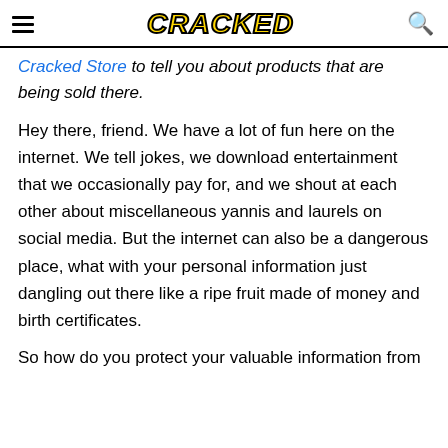CRACKED
Cracked Store to tell you about products that are being sold there.
Hey there, friend. We have a lot of fun here on the internet. We tell jokes, we download entertainment that we occasionally pay for, and we shout at each other about miscellaneous yannis and laurels on social media. But the internet can also be a dangerous place, what with your personal information just dangling out there like a ripe fruit made of money and birth certificates.
So how do you protect your valuable information from